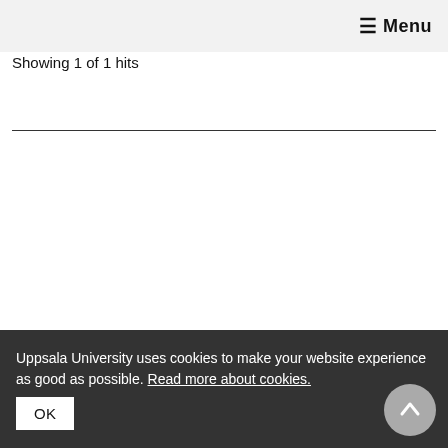☰ Menu
Showing 1 of 1 hits
Uppsala University uses cookies to make your website experience as good as possible. Read more about cookies. OK